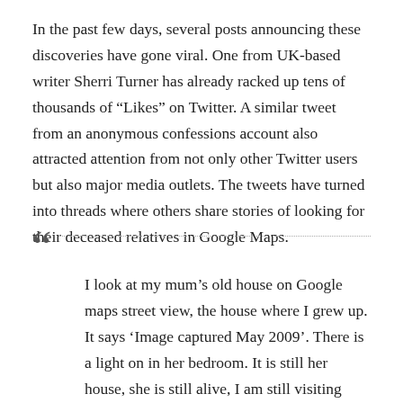In the past few days, several posts announcing these discoveries have gone viral. One from UK-based writer Sherri Turner has already racked up tens of thousands of “Likes” on Twitter. A similar tweet from an anonymous confessions account also attracted attention from not only other Twitter users but also major media outlets. The tweets have turned into threads where others share stories of looking for their deceased relatives in Google Maps.
I look at my mum’s old house on Google maps street view, the house where I grew up. It says ‘Image captured May 2009’. There is a light on in her bedroom. It is still her house, she is still alive, I am still visiting every few months on the train to Bodmin Parkway,